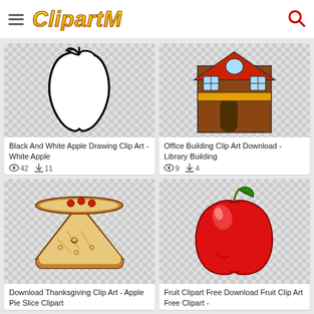ClipArtMax
[Figure (illustration): Black and white outline drawing of an apple with leaf]
Black And White Apple Drawing Clip Art - White Apple
Views: 42  Downloads: 11
[Figure (illustration): Colorful clip art of an office/library building]
Office Building Clip Art Download - Library Building
Views: 9  Downloads: 4
[Figure (illustration): Clip art of a slice of apple pie]
Download Thanksgiving Clip Art - Apple Pie Slice Clipart
[Figure (illustration): Clip art of a red apple with green stem and leaf]
Fruit Clipart Free Download Fruit Clip Art Free Clipart -